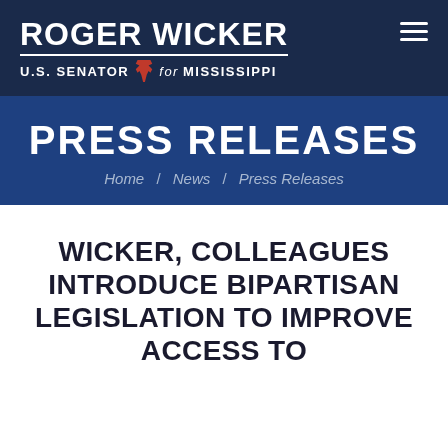ROGER WICKER U.S. SENATOR for MISSISSIPPI
PRESS RELEASES
Home / News / Press Releases
WICKER, COLLEAGUES INTRODUCE BIPARTISAN LEGISLATION TO IMPROVE ACCESS TO